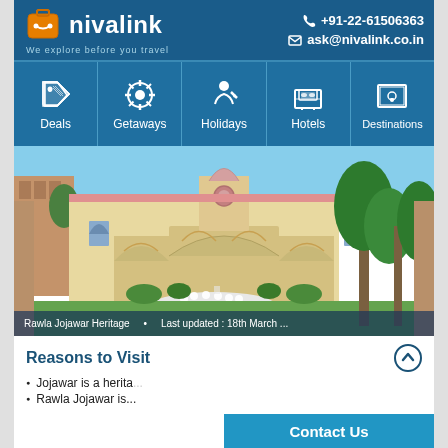nivalink — We explore before you travel | +91-22-61506363 | ask@nivalink.co.in
[Figure (infographic): Navigation bar with icons for Deals, Getaways, Holidays, Hotels, Destinations on dark blue background]
[Figure (photo): Photo of Rawla Jojawar Heritage hotel showing a historic yellow sandstone building with arched doorways, a courtyard with white flowering garden, and green lawn with trees against a blue sky]
Rawla Jojawar Heritage     •     Last updated : 18th March ...
Reasons to Visit
Jojawar is a heritage...
Rawla Jojawar is...
Contact Us